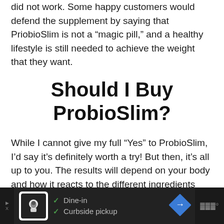did not work. Some happy customers would defend the supplement by saying that PriobioSlim is not a “magic pill,” and a healthy lifestyle is still needed to achieve the weight that they want.
Should I Buy ProbioSlim?
While I cannot give my full “Yes” to ProbioSlim, I’d say it’s definitely worth a try! But then, it’s all up to you. The results will depend on your body and how it reacts to the different ingredients that are included within.
[Figure (other): Advertisement banner at bottom of page showing a restaurant with Dine-in and Curbside pickup options, with navigation arrow icon on right]